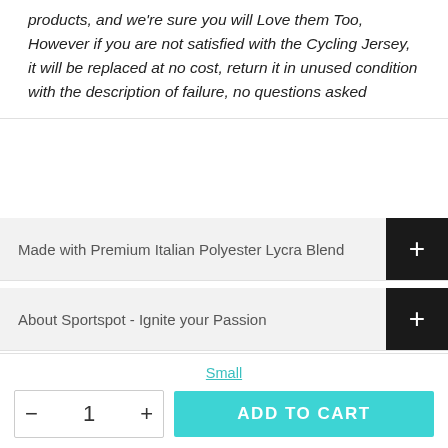products, and we're sure you will Love them Too, However if you are not satisfied with the Cycling Jersey, it will be replaced at no cost, return it in unused condition with the description of failure, no questions asked
Made with Premium Italian Polyester Lycra Blend
About Sportspot - Ignite your Passion
Look who is wearing Sportspot !
Small
- 1 + ADD TO CART